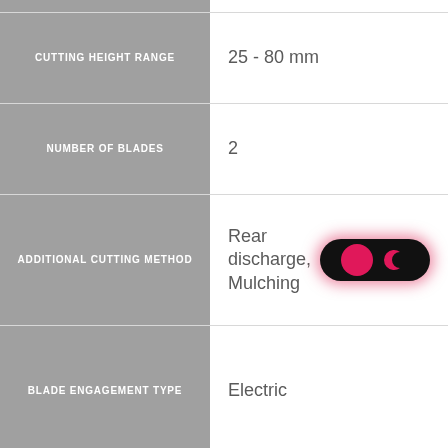| Specification | Value |
| --- | --- |
| CUTTING HEIGHT RANGE | 25 - 80 mm |
| NUMBER OF BLADES | 2 |
| ADDITIONAL CUTTING METHOD | Rear discharge, Mulching |
| BLADE ENGAGEMENT TYPE | Electric |
TRANSMISSION